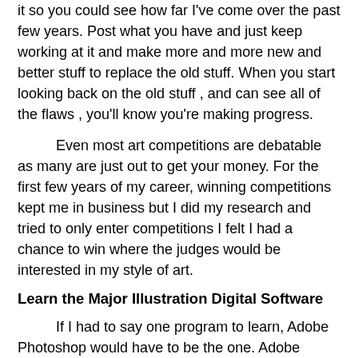it so you could see how far I've come over the past few years. Post what you have and just keep working at it and make more and more new and better stuff to replace the old stuff. When you start looking back on the old stuff , and can see all of the flaws , you'll know you're making progress.
Even most art competitions are debatable as many are just out to get your money. For the first few years of my career, winning competitions kept me in business but I did my research and tried to only enter competitions I felt I had a chance to win where the judges would be interested in my style of art.
Learn the Major Illustration Digital Software
If I had to say one program to learn, Adobe Photoshop would have to be the one. Adobe Photoshop elements is a smaller version that basically does everything I need it to do and is much cheaper. I got a free copy with a cheap digital camera and more recently got a copy with a new drawing tablet. You can also get free photo editing software online like Gimp. That will let you re-size and crop art for the web